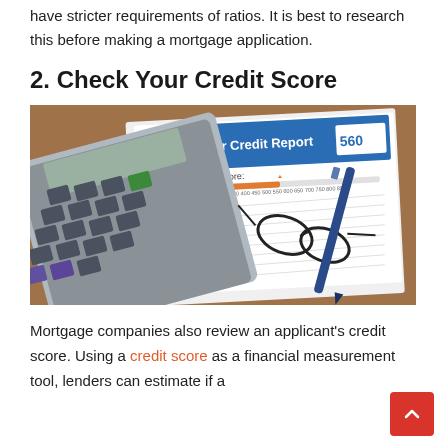have stricter requirements of ratios. It is best to research this before making a mortgage application.
2. Check Your Credit Score
[Figure (photo): A calculator resting on top of a credit report document showing 'Your Credit Report', 'Credit Score: Fair', score of 560, with glasses and a pen on a wooden table.]
Mortgage companies also review an applicant's credit score. Using a credit score as a financial measurement tool, lenders can estimate if a